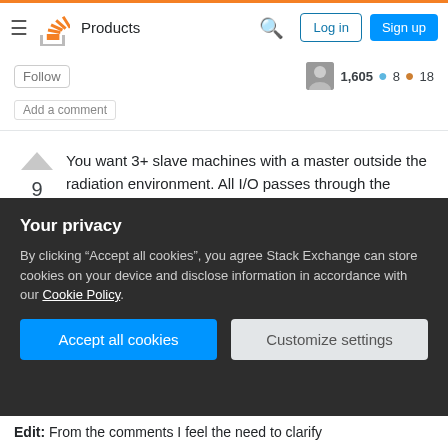≡  Products  🔍  Log in  Sign up
Follow
1,605 ● 8 ● 18
Add a comment
You want 3+ slave machines with a master outside the radiation environment. All I/O passes through the master which contains a vote and/or retry mechanism. The slaves must have a hardware watchdog each and the call to bump them should be surrounded by CRCs or the like to reduce the probability of involuntary bumping. Bumping should be controlled by the master, so lost connection with
Your privacy
By clicking "Accept all cookies", you agree Stack Exchange can store cookies on your device and disclose information in accordance with our Cookie Policy.
Accept all cookies
Customize settings
Edit: From the comments I feel the need to clarify